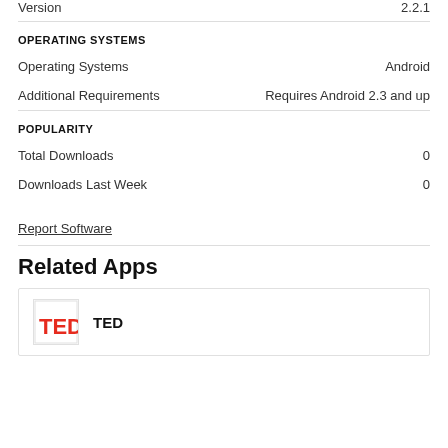Version   2.2.1
OPERATING SYSTEMS
Operating Systems   Android
Additional Requirements   Requires Android 2.3 and up
POPULARITY
Total Downloads   0
Downloads Last Week   0
Report Software
Related Apps
TED